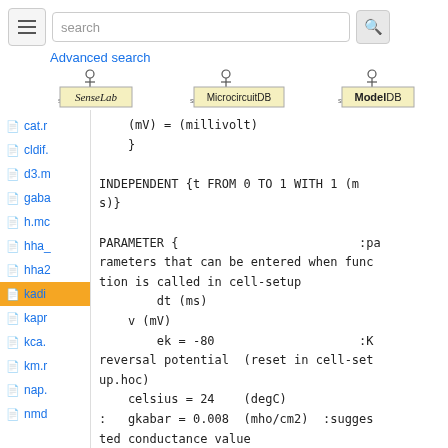[Figure (screenshot): Search bar with hamburger menu, search input box, search button, Advanced search link, and three database logos: SenseLab, MicrocircuitDB, ModelDB]
(mV) = (millivolt)
    }

INDEPENDENT {t FROM 0 TO 1 WITH 1 (m
s)}

PARAMETER {                         :pa
rameters that can be entered when func
tion is called in cell-setup
        dt (ms)
    v (mV)
        ek = -80                    :K
reversal potential  (reset in cell-set
up.hoc)
    celsius = 24    (degC)
:   gkabar = 0.008  (mho/cm2)  :sugges
ted conductance value
    gkabar = 0      (mho/cm2)  :initia
lized conductance